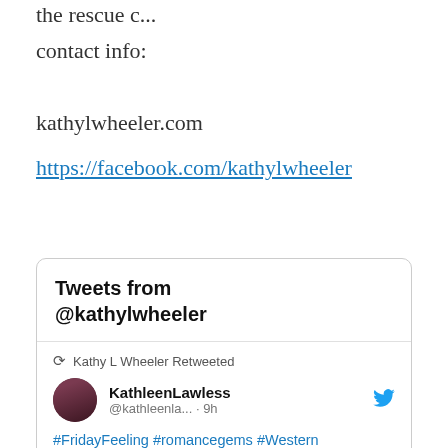the rescue c...
contact info:
kathylwheeler.com
https://facebook.com/kathylwheeler
[Figure (screenshot): Embedded Twitter widget showing 'Tweets from @kathylwheeler' header, with a retweet by Kathy L Wheeler of a tweet by KathleenLawless (@kathleenla...) posted 9h ago, containing hashtags #FridayFeeling #romancegems #Western #historicalromance #cowboys #amreadeingromance #ebook #KindleUnlimited followed by text 'Why is he a recluse? She is determined to find out.']